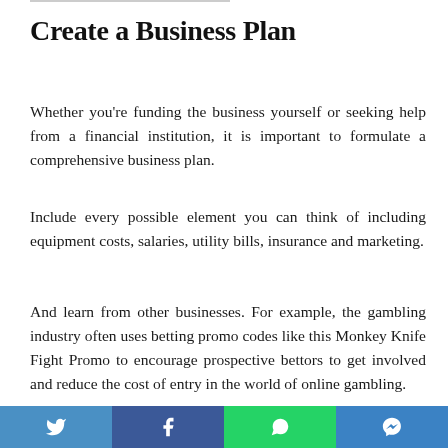Create a Business Plan
Whether you're funding the business yourself or seeking help from a financial institution, it is important to formulate a comprehensive business plan.
Include every possible element you can think of including equipment costs, salaries, utility bills, insurance and marketing.
And learn from other businesses. For example, the gambling industry often uses betting promo codes like this Monkey Knife Fight Promo to encourage prospective bettors to get involved and reduce the cost of entry in the world of online gambling.
On the other end of the spectrum, luxury brands have